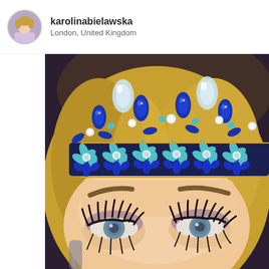karolinabielawska
London, United Kingdom
[Figure (photo): Close-up portrait photo of a woman wearing an ornate jewelled crown/headpiece with turquoise, sapphire blue, and crystal/diamond embellishments on a dark blue band. The woman has dramatic eye makeup with thick lashes and grey-blue eyes.]